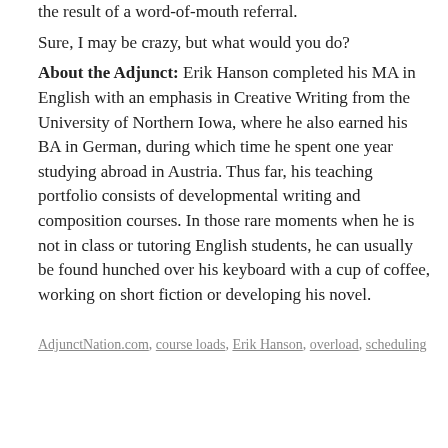the result of a word-of-mouth referral.
Sure, I may be crazy, but what would you do?
About the Adjunct: Erik Hanson completed his MA in English with an emphasis in Creative Writing from the University of Northern Iowa, where he also earned his BA in German, during which time he spent one year studying abroad in Austria. Thus far, his teaching portfolio consists of developmental writing and composition courses. In those rare moments when he is not in class or tutoring English students, he can usually be found hunched over his keyboard with a cup of coffee, working on short fiction or developing his novel.
AdjunctNation.com, course loads, Erik Hanson, overload, scheduling
[Figure (screenshot): Facebook Like widget area with Facebook icon header, Like button with count 0, and a numbered badge showing 1]